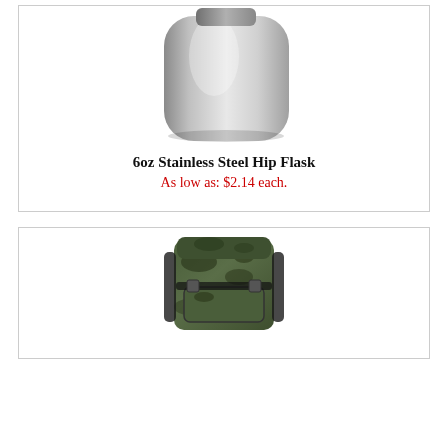[Figure (photo): 6oz stainless steel hip flask, silver metallic, rounded rectangular shape on white background]
6oz Stainless Steel Hip Flask
As low as: $2.14 each.
[Figure (photo): Camouflage military backpack with multiple pockets and straps, large hiking rucksack in green camo pattern]